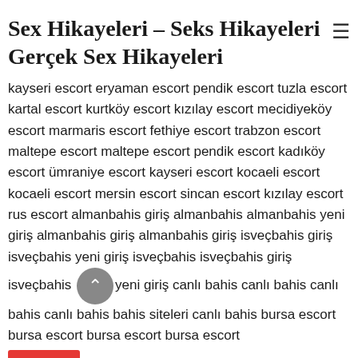Sex Hikayeleri – Seks Hikayeleri Gerçek Sex Hikayeleri
kayseri escort eryaman escort pendik escort tuzla escort kartal escort kurtköy escort kızılay escort mecidiyeköy escort marmaris escort fethiye escort trabzon escort maltepe escort maltepe escort pendik escort kadıköy escort ümraniye escort kayseri escort kocaeli escort kocaeli escort mersin escort sincan escort kızılay escort rus escort almanbahis giriş almanbahis almanbahis yeni giriş almanbahis giriş almanbahis giriş isveçbahis giriş isveçbahis yeni giriş isveçbahis isveçbahis giriş isveçbahis yeni giriş canlı bahis canlı bahis canlı bahis canlı bahis bahis siteleri canlı bahis bursa escort bursa escort bursa escort bursa escort